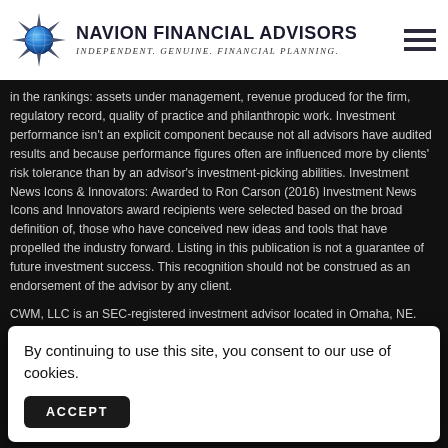NAVION FINANCIAL ADVISORS — Independent. Genuine. Financial Planning.
in the rankings: assets under management, revenue produced for the firm, regulatory record, quality of practice and philanthropic work. Investment performance isn't an explicit component because not all advisors have audited results and because performance figures often are influenced more by clients' risk tolerance than by an advisor's investment-picking abilities. Investment News Icons & Innovators: Awarded to Ron Carson (2016) Investment News Icons and Innovators award recipients were selected based on the broad definition of, those who have conceived new ideas and tools that have propelled the industry forward. Listing in this publication is not a guarantee of future investment success. This recognition should not be construed as an endorsement of the advisor by any client.
CWM, LLC is an SEC-registered investment advisor located in Omaha, NE. CWM, LLC and its representatives are in compliance with the current registration and/or no... in wh...
Co... wit...
By continuing to use this site, you consent to our use of cookies.